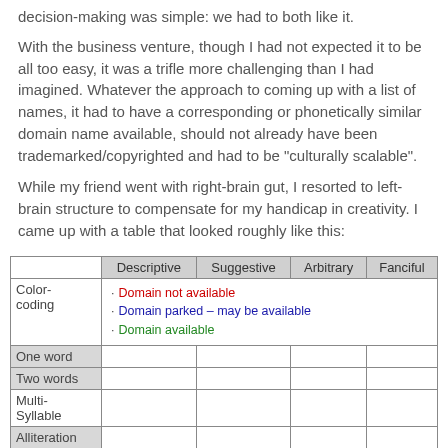decision-making was simple: we had to both like it.
With the business venture, though I had not expected it to be all too easy, it was a trifle more challenging than I had imagined. Whatever the approach to coming up with a list of names, it had to have a corresponding or phonetically similar domain name available, should not already have been trademarked/copyrighted and had to be "culturally scalable".
While my friend went with right-brain gut, I resorted to left-brain structure to compensate for my handicap in creativity. I came up with a table that looked roughly like this:
|  | Descriptive | Suggestive | Arbitrary | Fanciful |
| --- | --- | --- | --- | --- |
| Color-coding | · Domain not available
· Domain parked – may be available
· Domain available |  |  |  |
| One word |  |  |  |  |
| Two words |  |  |  |  |
| Multi-Syllable |  |  |  |  |
| Alliteration |  |  |  |  |